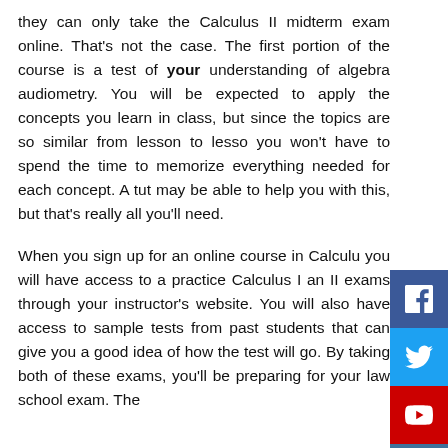they can only take the Calculus II midterm exam online. That's not the case. The first portion of the course is a test of your understanding of algebra audiometry. You will be expected to apply the concepts you learn in class, but since the topics are so similar from lesson to lesson you won't have to spend the time to memorize everything needed for each concept. A tutor may be able to help you with this, but that's really all you'll need.
When you sign up for an online course in Calculus, you will have access to a practice Calculus I and II exams through your instructor's website. You will also have access to sample tests from past students that can give you a good idea of how the test will go. By taking both of these exams, you'll be preparing for your law school exam. The